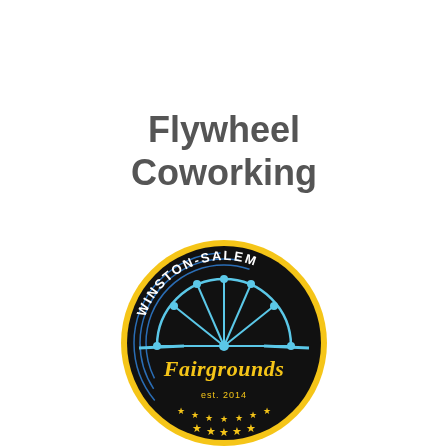Flywheel Coworking
[Figure (logo): Winston-Salem Fairgrounds circular logo with a black background, yellow border, a blue ferris wheel graphic in the center, cursive yellow 'Fairgrounds' text, 'WINSTON-SALEM' text along the top arc, and 'est. 2014' with yellow stars along the bottom.]